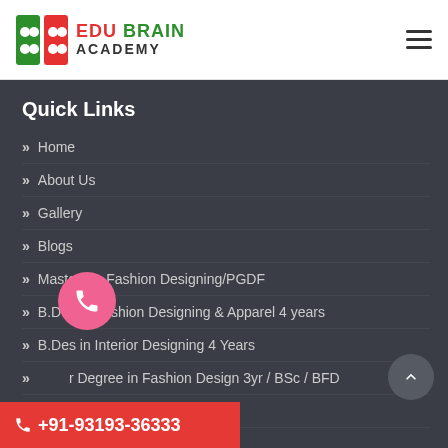Edu Brain Academy
Quick Links
Home
About Us
Gallery
Blogs
Masters in Fashion Designing/PGDF
B.Des in Fashion Designing & Apparel 4 years
B.Des in Interior Designing 4 Years
Bachelor Degree in Fashion Design 3yr / BSc / BFD
B. VOC fashion Technology
Bachelor in Design 2 years
+91-93193-36333